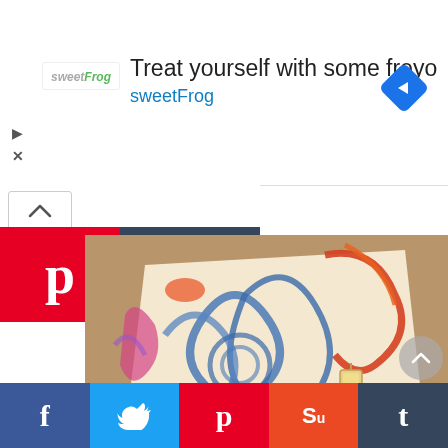[Figure (screenshot): Advertisement banner for sweetFrog frozen yogurt. Logo on left, headline 'Treat yourself with some froyo', 'sweetFrog' link in blue, navigation icon on right.]
[Figure (screenshot): Social sharing panel with upward chevron, Pinterest (P) red button and Tumblr (t) dark blue button.]
[Figure (illustration): Colorful illustrated artwork on paper/fabric showing swirling blue and red dragon/phoenix motifs with Japanese-style lantern, on wooden surface background.]
[Figure (screenshot): Bottom social sharing bar with Facebook (f), Twitter (bird), Pinterest (P), StumbleUpon (su), and Tumblr (t) buttons.]